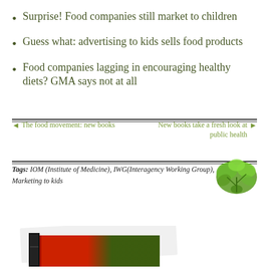Surprise! Food companies still market to children
Guess what: advertising to kids sells food products
Food companies lagging in encouraging healthy diets? GMA says not at all
◄ The food movement: new books
New books take a fresh look at public health ►
Tags: IOM (Institute of Medicine), IWG(Interagency Working Group), Marketing to kids
[Figure (photo): Stack of books at bottom of page]
[Figure (photo): Green herb/lettuce decoration in upper right of tags area]